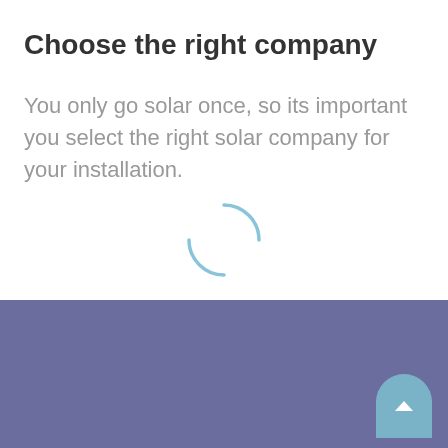Choose the right company
You only go solar once, so its important you select the right solar company for your installation.
[Figure (other): A loading spinner / circular loading indicator rendered in light blue]
We answer all your solar questions